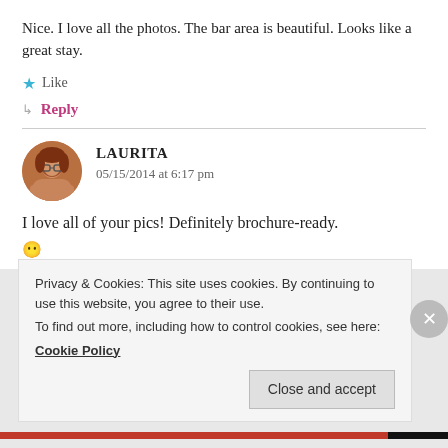Nice. I love all the photos. The bar area is beautiful. Looks like a great stay.
★ Like
↳ Reply
LAURITA
05/15/2014 at 6:17 pm
I love all of your pics! Definitely brochure-ready. 😶
Privacy & Cookies: This site uses cookies. By continuing to use this website, you agree to their use.
To find out more, including how to control cookies, see here:
Cookie Policy
Close and accept